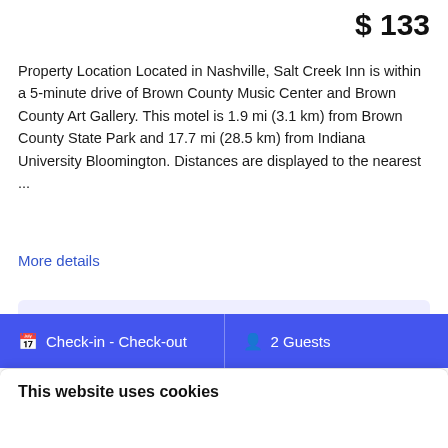$ 133
Property Location Located in Nashville, Salt Creek Inn is within a 5-minute drive of Brown County Music Center and Brown County Art Gallery. This motel is 1.9 mi (3.1 km) from Brown County State Park and 17.7 mi (28.5 km) from Indiana University Bloomington. Distances are displayed to the nearest ...
More details
Select the date of your trip to check room availability.
Check-in - Check-out
2 Guests
This website uses cookies